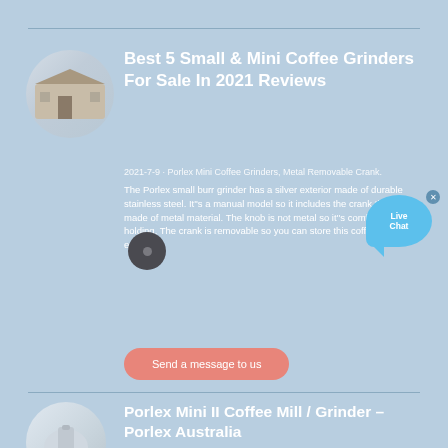[Figure (photo): Oval-shaped thumbnail image of a building/house scene]
Best 5 Small & Mini Coffee Grinders For Sale In 2021 Reviews
2021-7-9 · Porlex Mini Coffee Grinders, Metal Removable Crank. The Porlex small burr grinder has a silver exterior made of durable stainless steel. It''s a manual model so it includes the crank that is also made of metal material. The knob is not metal so it''s comfortable for holding. The crank is removable so you can store this coffee grinder easily.
Send a message to us
[Figure (photo): Live Chat speech bubble icon with 'Live Chat' text]
[Figure (photo): Dark circular knob overlay element]
[Figure (photo): Oval-shaped thumbnail image at bottom (partially visible)]
Porlex Mini II Coffee Mill / Grinder – Porlex Australia